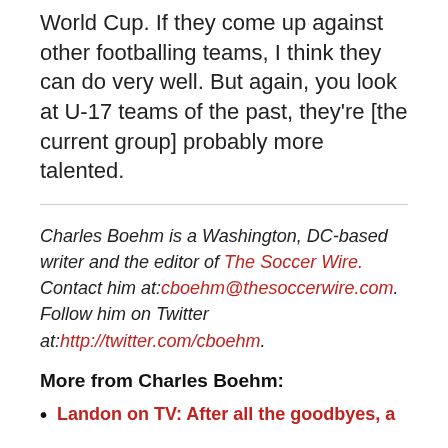World Cup. If they come up against other footballing teams, I think they can do very well. But again, you look at U-17 teams of the past, they’re [the current group] probably more talented.
Charles Boehm is a Washington, DC-based writer and the editor of The Soccer Wire. Contact him at:cboehm@thesoccerwire.com. Follow him on Twitter at:http://twitter.com/cboehm.
More from Charles Boehm:
Landon on TV: After all the goodbyes, a